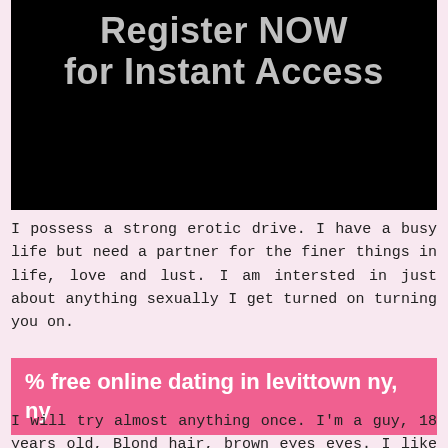[Figure (other): Black banner with gray text reading 'Register NOW for Instant Access']
I possess a strong erotic drive. I have a busy life but need a partner for the finer things in life, love and lust. I am intersted in just about anything sexually I get turned on turning you on.
% free online dating in levittown ny, ny
I will try almost anything once. I'm a guy, 18 years old, Blond hair, brown eyes eyes. I like hanging